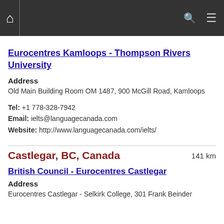Navigation bar with home, search, and menu icons
Eurocentres Kamloops - Thompson Rivers University
Address
Old Main Building Room OM 1487, 900 McGill Road, Kamloops
Tel: +1 778-328-7942
Email: ielts@languagecanada.com
Website: http://www.languagecanada.com/ielts/
Castlegar, BC, Canada
141 km
British Council - Eurocentres Castlegar
Address
Eurocentres Castlegar - Selkirk College, 301 Frank Beinder